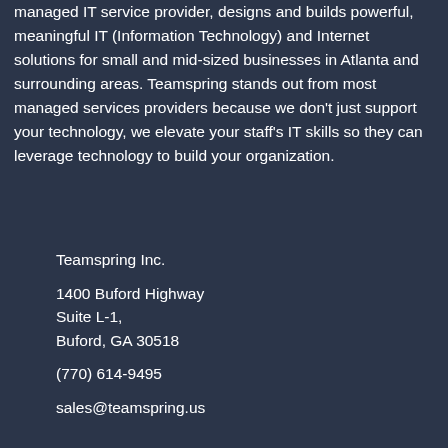managed IT service provider, designs and builds powerful, meaningful IT (Information Technology) and Internet solutions for small and mid-sized businesses in Atlanta and surrounding areas. Teamspring stands out from most managed services providers because we don't just support your technology, we elevate your staff's IT skills so they can leverage technology to build your organization.
Teamspring Inc.
1400 Buford Highway
Suite L-1,
Buford, GA 30518
(770) 614-9495
sales@teamspring.us